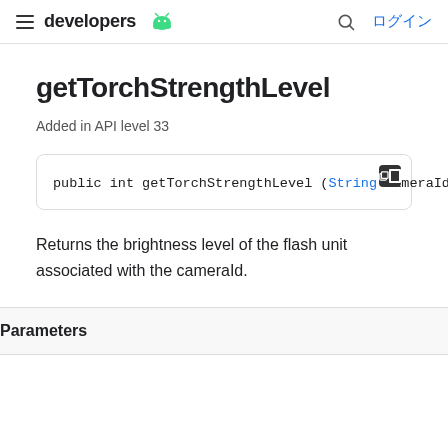developers  ログイン
getTorchStrengthLevel
Added in API level 33
public int getTorchStrengthLevel (String cameraId)
Returns the brightness level of the flash unit associated with the cameraId.
Parameters